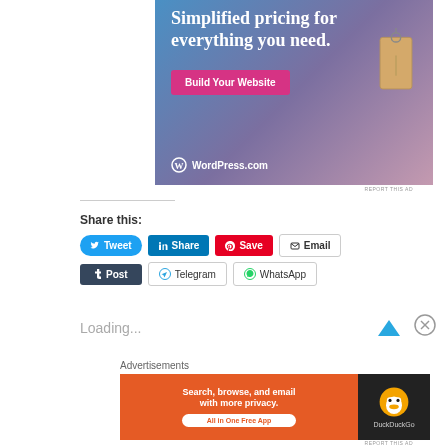[Figure (illustration): WordPress.com advertisement with gradient blue-purple-pink background showing a price tag, a pink 'Build Your Website' button, and WordPress.com logo at bottom left]
REPORT THIS AD
Share this:
Tweet  Share  Save  Email  Post  Telegram  WhatsApp
Loading...
Advertisements
[Figure (illustration): DuckDuckGo advertisement with orange background saying 'Search, browse, and email with more privacy. All in One Free App' and DuckDuckGo duck logo on dark background]